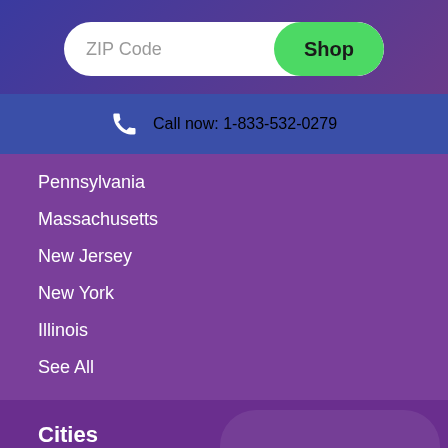[Figure (infographic): ZIP Code search bar with Shop button and phone call banner]
Call now: 1-833-532-0279
Pennsylvania
Massachusetts
New Jersey
New York
Illinois
See All
Cities
Houston
Dallas
Arlington
Corpus Christi
Fort Worth